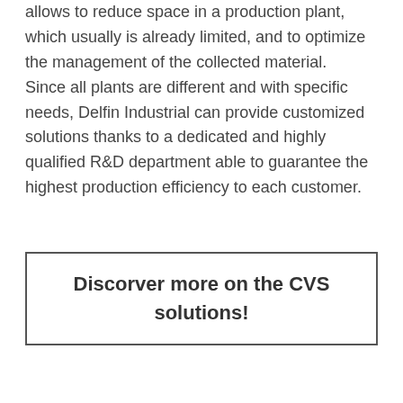allows to reduce space in a production plant, which usually is already limited, and to optimize the management of the collected material. Since all plants are different and with specific needs, Delfin Industrial can provide customized solutions thanks to a dedicated and highly qualified R&D department able to guarantee the highest production efficiency to each customer.
Discorver more on the CVS solutions!